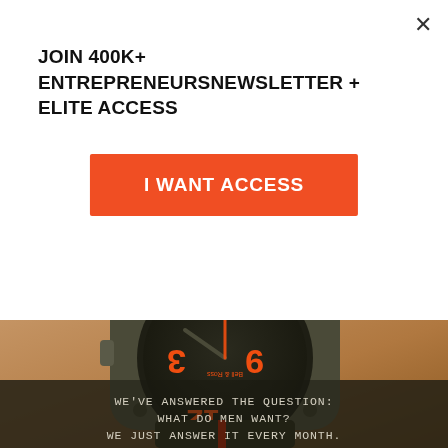JOIN 400K+ ENTREPRENEURSNEWSLETTER + ELITE ACCESS
I WANT ACCESS
[Figure (photo): Close-up photo of a Bell & Ross square watch with orange numerals and hands on a wrist, dark olive background. Text overlay reads: WE'VE ANSWERED THE QUESTION: / WHAT DO MEN WANT? / WE JUST ANSWER IT EVERY MONTH.]